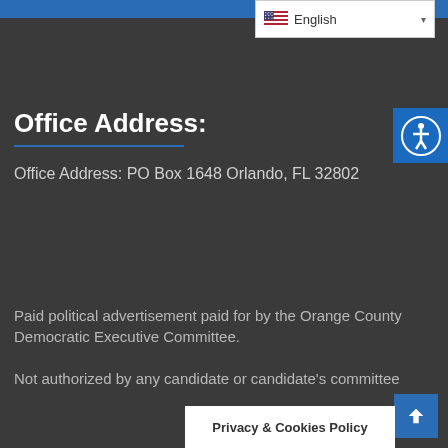English
Office Address:
Office Address: PO Box 1648 Orlando, FL 32802
Paid political advertisement paid for by the Orange County Democratic Executive Committee.
Not authorized by any candidate or candidate's committee
Privacy & Cookies Policy